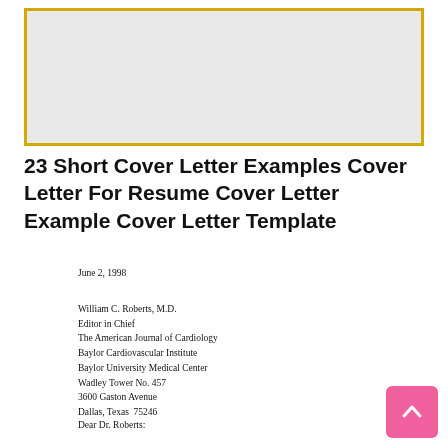[Figure (other): Gray placeholder image box with yellow/gold border]
23 Short Cover Letter Examples Cover Letter For Resume Cover Letter Example Cover Letter Template
June 2, 1998
William C. Roberts, M.D.
Editor in Chief
The American Journal of Cardiology
Baylor Cardiovascular Institute
Baylor University Medical Center
Wadley Tower No. 457
3600 Gaston Avenue
Dallas, Texas  75246
Dear Dr. Roberts: